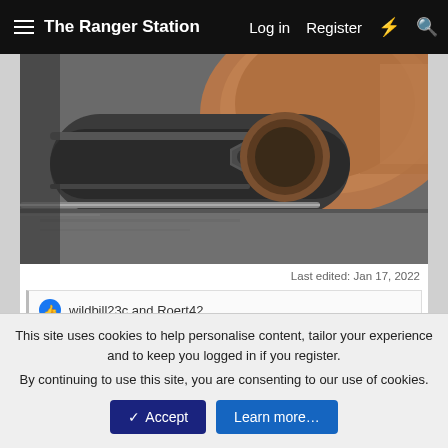The Ranger Station   Log in   Register
[Figure (photo): Close-up photo of a vehicle suspension or axle component showing a bolt/nut and metal bracket with rust and grease, viewed from below]
Last edited: Jan 17, 2022
wildbill23c and Roert42
This site uses cookies to help personalise content, tailor your experience and to keep you logged in if you register.
By continuing to use this site, you are consenting to our use of cookies.